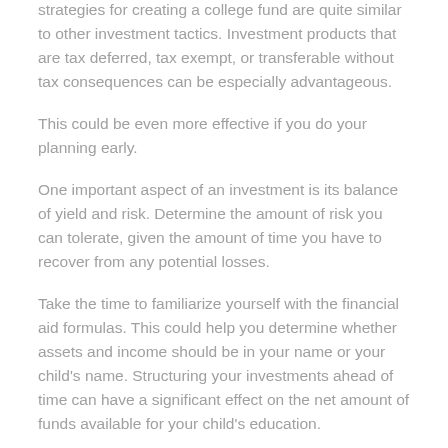strategies for creating a college fund are quite similar to other investment tactics. Investment products that are tax deferred, tax exempt, or transferable without tax consequences can be especially advantageous.
This could be even more effective if you do your planning early.
One important aspect of an investment is its balance of yield and risk. Determine the amount of risk you can tolerate, given the amount of time you have to recover from any potential losses.
Take the time to familiarize yourself with the financial aid formulas. This could help you determine whether assets and income should be in your name or your child's name. Structuring your investments ahead of time can have a significant effect on the net amount of funds available for your child's education.